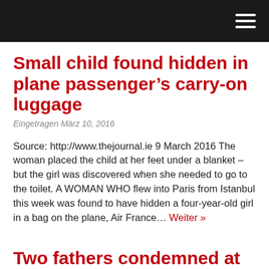Small child found hidden in plane passenger’s carry-on luggage
Eingetragen März 10, 2016
Source: http://www.thejournal.ie 9 March 2016 The woman placed the child at her feet under a blanket – but the girl was discovered when she needed to go to the toilet. A WOMAN WHO flew into Paris from Istanbul this week was found to have hidden a four-year-old girl in a bag on the plane, Air France… Weiter »
Two fathers condemned at Bordeaux after using a surrogate